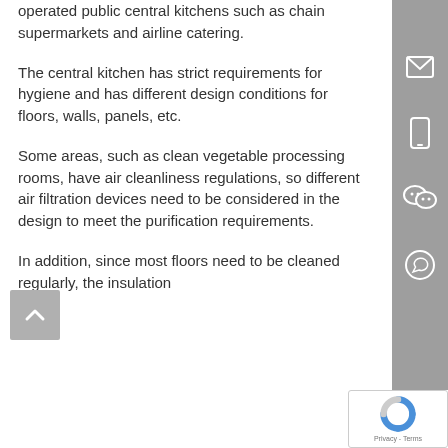operated public central kitchens such as chain supermarkets and airline catering.
The central kitchen has strict requirements for hygiene and has different design conditions for floors, walls, panels, etc.
Some areas, such as clean vegetable processing rooms, have air cleanliness regulations, so different air filtration devices need to be considered in the design to meet the purification requirements.
In addition, since most floors need to be cleaned regularly, the insulation layer and floor structure should be